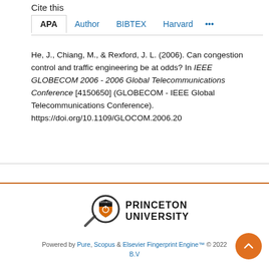Cite this
APA   Author   BIBTEX   Harvard   ...
He, J., Chiang, M., & Rexford, J. L. (2006). Can congestion control and traffic engineering be at odds? In IEEE GLOBECOM 2006 - 2006 Global Telecommunications Conference [4150650] (GLOBECOM - IEEE Global Telecommunications Conference). https://doi.org/10.1109/GLOCOM.2006.20
[Figure (logo): Princeton University logo with magnifying glass and shield icon, orange and black colors, text reads PRINCETON UNIVERSITY]
Powered by Pure, Scopus & Elsevier Fingerprint Engine™ © 2022 Elsevier B.V